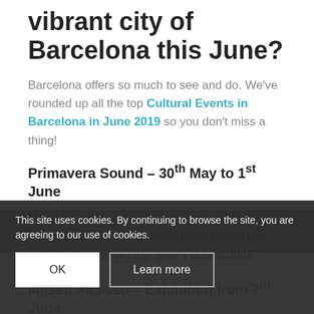vibrant city of Barcelona this June?
Barcelona offers so much to see and do. We've rounded up all the top Cultural Events in Barcelona in June 2019 so you don't miss a thing!
Primavera Sound – 30th May to 1st June
Music lovers can rock out by the sea at Primavera Sound. This indie rock festival has multiple stages and this year's acts include James Blake, Rosalía and Octavian.
Where: Parc del Forum
Visit: www.primaverasound.com
Museu Picasso – Exhibition from 7th June
This site uses cookies. By continuing to browse the site, you are agreeing to our use of cookies.